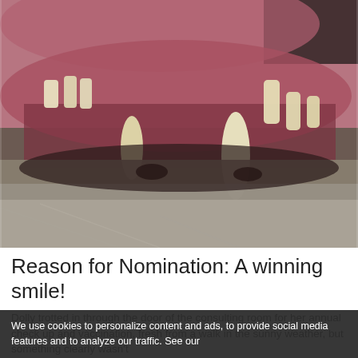[Figure (photo): Close-up photograph of a dog or cat's teeth and gums, showing yellowed teeth, exposed gum line, and fur around the snout. The animal's mouth is open showing prominent canine teeth and incisors.]
Reason for Nomination: A winning smile!
Dolly trotted in through the door of the consulting room for her annual check up and vaccination, fresh from a walk in the sunny weather, but something clearly wasn't
We use cookies to personalize content and ads, to provide social media features and to analyze our traffic. See our